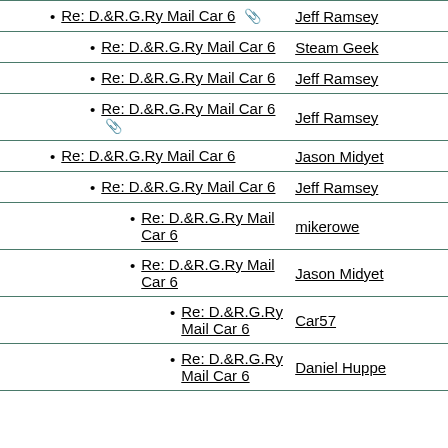| Subject | Author |
| --- | --- |
| Re: D.&R.G.Ry Mail Car 6 📎 | Jeff Ramsey |
| Re: D.&R.G.Ry Mail Car 6 | Steam Geek |
| Re: D.&R.G.Ry Mail Car 6 | Jeff Ramsey |
| Re: D.&R.G.Ry Mail Car 6 📎 | Jeff Ramsey |
| Re: D.&R.G.Ry Mail Car 6 | Jason Midyet |
| Re: D.&R.G.Ry Mail Car 6 | Jeff Ramsey |
| Re: D.&R.G.Ry Mail Car 6 | mikerowe |
| Re: D.&R.G.Ry Mail Car 6 | Jason Midyet |
| Re: D.&R.G.Ry Mail Car 6 | Car57 |
| Re: D.&R.G.Ry Mail Car 6 | Daniel Huppe |